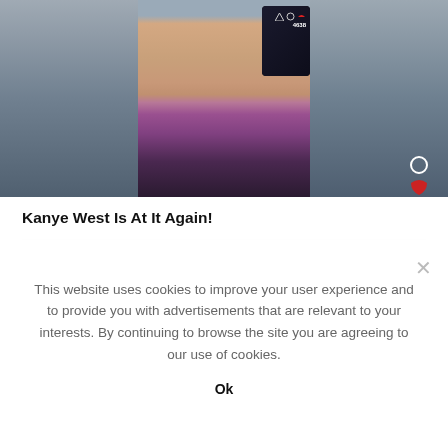[Figure (photo): A man with a purple/pink scarf around his neck making a face at the camera, photographed in a selfie style. The main image is centered with blurred side panels on left and right showing the same person. There is a phone visible in the upper right of the main image showing an Instagram interface.]
Kanye West Is At It Again!
This website uses cookies to improve your user experience and to provide you with advertisements that are relevant to your interests. By continuing to browse the site you are agreeing to our use of cookies.
Ok